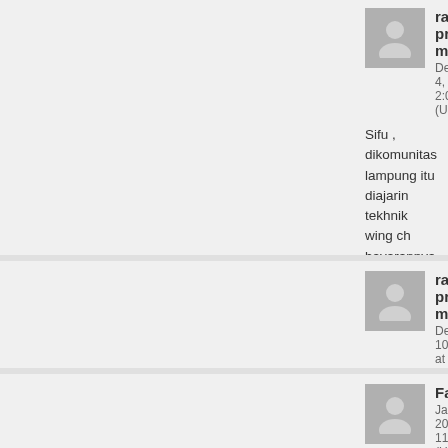rafif pradya m
December 4, 2015 at 2:06 PM (UTC 7)
Sifu , dikomunitas lampung itu diajarin tekhnik wing ch bayarannya berapa ya sifu . Makasih
Administrator
December 8, 2015 at 9:33 AM (UTC
Saat ii udah ada pelatihan rutinnya...silahk
rafif pradya m
December 10, 2015 at 5:53 PM (UTC 7)
Sifuu kalo dilampung tempat latihannya dimana aja sif
Farahnaz
January 1, 2016 at 11:11 AM (UTC 7)
Shifu, untuk biaya latihannya berapa?